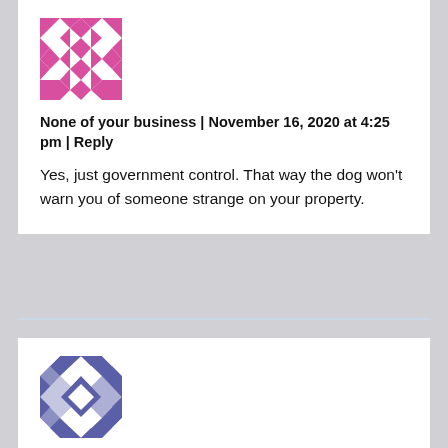[Figure (illustration): Pink/magenta geometric quilt-pattern avatar icon]
None of your business | November 16, 2020 at 4:25 pm | Reply
Yes, just government control. That way the dog won't warn you of someone strange on your property.
[Figure (illustration): Blue/purple geometric quilt-pattern avatar icon]
William Moore | November 16, 2020 at 1:16 pm | Reply